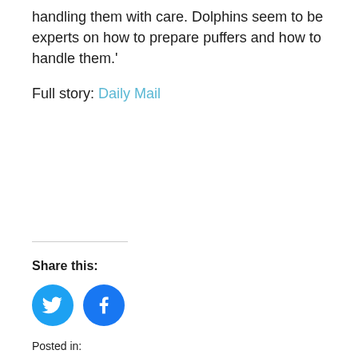handling them with care. Dolphins seem to be experts on how to prepare puffers and how to handle them.'
Full story: Daily Mail
Share this:
[Figure (illustration): Twitter and Facebook share icon buttons (circular blue icons with bird and f logos)]
Posted in: